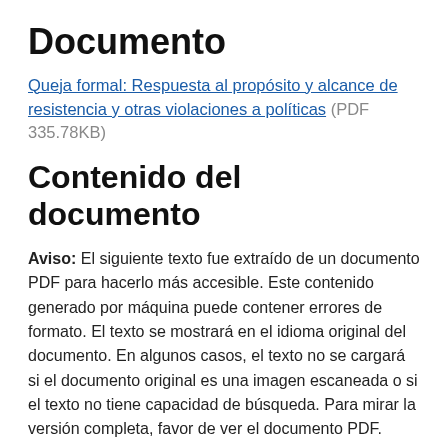Documento
Queja formal: Respuesta al propósito y alcance de resistencia y otras violaciones a políticas (PDF 335.78KB)
Contenido del documento
Aviso: El siguiente texto fue extraído de un documento PDF para hacerlo más accesible. Este contenido generado por máquina puede contener errores de formato. El texto se mostrará en el idioma original del documento. En algunos casos, el texto no se cargará si el documento original es una imagen escaneada o si el texto no tiene capacidad de búsqueda. Para mirar la versión completa, favor de ver el documento PDF.